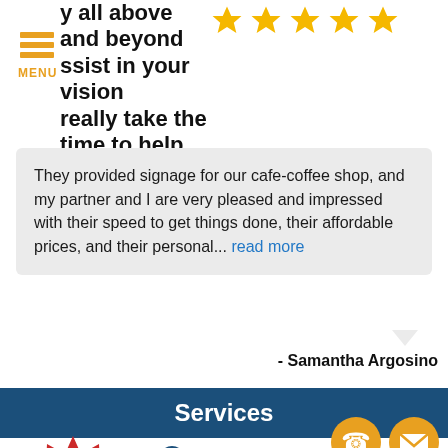[Figure (infographic): Menu hamburger icon with three orange horizontal lines and MENU label below]
y all above and beyond
ssist in your vision
really take the time to help make you successful!
[Figure (infographic): Five gold star rating icons in a row]
They provided signage for our cafe-coffee shop, and my partner and I are very pleased and impressed with their speed to get things done, their affordable prices, and their personal... read more
- Samantha Argosino
Services
[Figure (infographic): Red starburst badge with text #1 Rated Vehicle Wraps]
A-frame Signs
ADA Signs
Acrylic Signs
[Figure (infographic): Gold circular phone icon and gold circular mail/envelope icon]